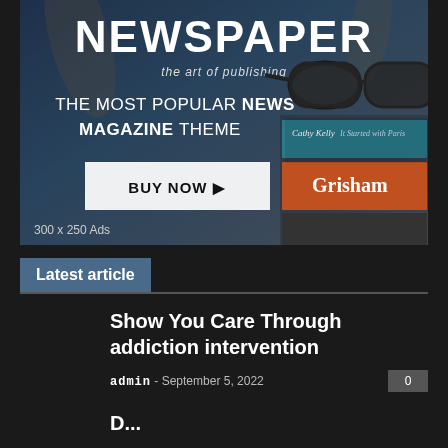[Figure (screenshot): Advertisement banner for 'Newspaper - the art of publishing' WordPress theme. Shows 'THE MOST POPULAR NEWS MAGAZINE THEME' text with a BUY NOW button, books and sunglasses imagery in background. '300 x 250 Ads' label at bottom left.]
Latest article
Show You Care Through addiction intervention
admin - September 5, 2022